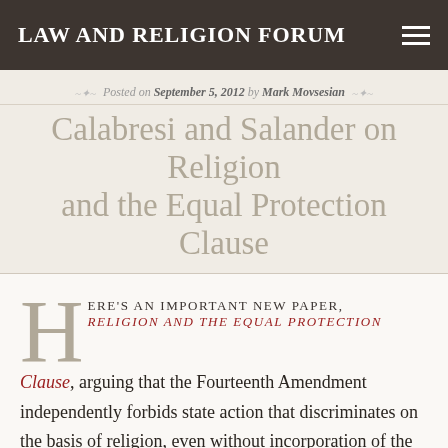LAW AND RELIGION FORUM
Posted on September 5, 2012 by Mark Movsesian
Calabresi and Salander on Religion and the Equal Protection Clause
HERE'S AN IMPORTANT NEW PAPER, Religion and the Equal Protection Clause, arguing that the Fourteenth Amendment independently forbids state action that discriminates on the basis of religion, even without incorporation of the First Amendment's